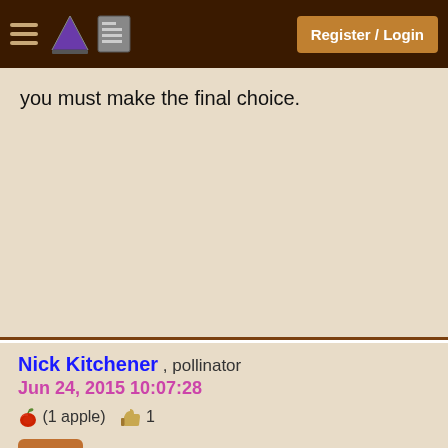Register / Login
you must make the final choice.
Nick Kitchener , pollinator
Jun 24, 2015 10:07:28
(1 apple) 1
+Pie
It turns out that if you look at all the living cells that make up "you", you will find that only about 10% are actually human.
Only recently has research turned its attention to the other 90% and how they contribute to making us "us".

An example of this is how the micro-orga... gut control our immune response, and there are now studies that have been done, and regimens developed